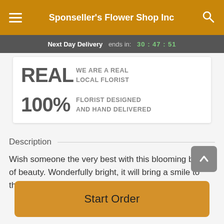Sponseller's Flower Shop Inc
Next Day Delivery ends in: 30:47:51
[Figure (infographic): Info card with two rows: 'REAL - WE ARE A REAL LOCAL FLORIST' and '100% - FLORIST DESIGNED AND HAND DELIVERED']
Description
Wish someone the very best with this blooming basket of beauty. Wonderfully bright, it will bring a smile to their face
Start Order